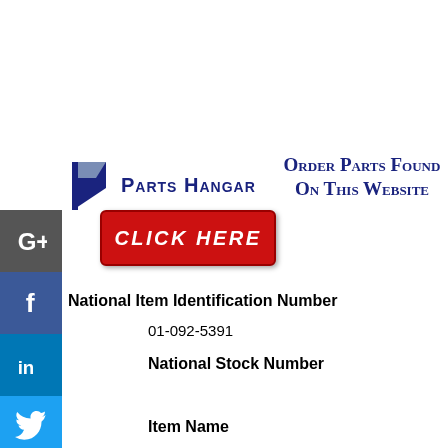[Figure (logo): Parts Hangar logo with stylized P icon and company name in navy blue small-caps]
[Figure (other): Red 'CLICK HERE' button for ordering parts]
Order Parts Found On This Website
National Item Identification Number
01-092-5391
National Stock Number
Item Name